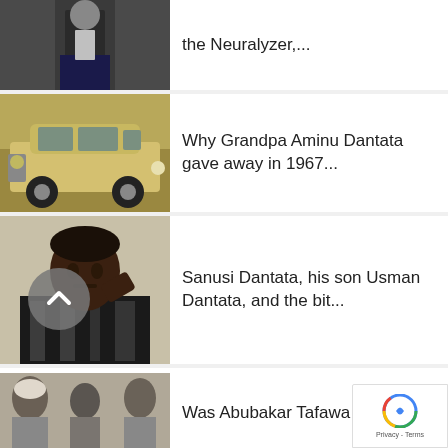[Figure (photo): Partial top of first list item — man in suit holding object, cropped]
the Neuralyzer,...
[Figure (photo): Vintage gold/cream Mercedes-Benz sedan, classic car photo]
Why Grandpa Aminu Dantata gave away in 1967...
[Figure (photo): Black and white portrait photo of a man in patterned shirt]
Sanusi Dantata, his son Usman Dantata, and the bit...
[Figure (photo): Historical black and white photo of group of men seated]
Was Abubakar Tafawa